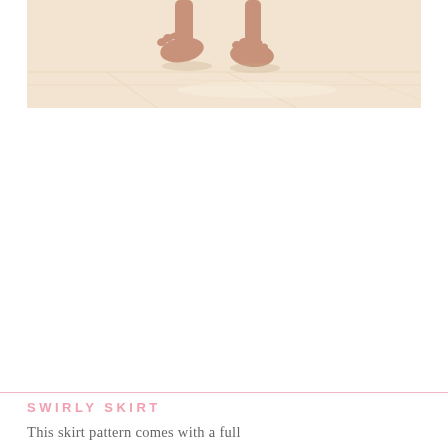[Figure (photo): Close-up photo of a child's bare feet standing on a light-colored wooden floor, with a warm beige/cream tone]
SWIRLY SKIRT
This skirt pattern comes with a full